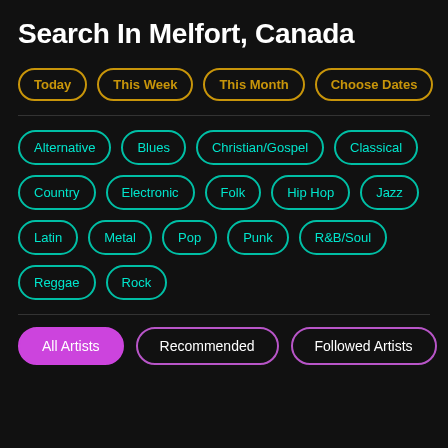Search In Melfort, Canada
Today
This Week
This Month
Choose Dates
Alternative
Blues
Christian/Gospel
Classical
Country
Electronic
Folk
Hip Hop
Jazz
Latin
Metal
Pop
Punk
R&B/Soul
Reggae
Rock
All Artists
Recommended
Followed Artists